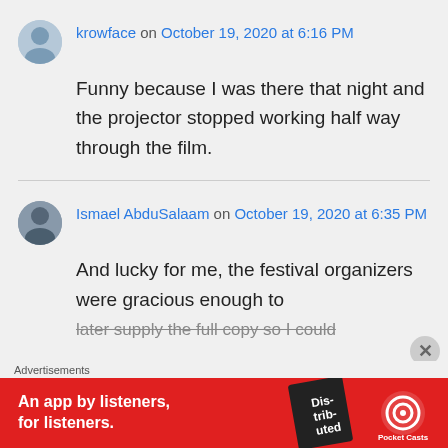krowface on October 19, 2020 at 6:16 PM
Funny because I was there that night and the projector stopped working half way through the film.
Ismael AbduSalaam on October 19, 2020 at 6:35 PM
And lucky for me, the festival organizers were gracious enough to later supply the full copy so I could
Advertisements
[Figure (other): Pocket Casts advertisement banner: 'An app by listeners, for listeners.' with red background and book cover image]